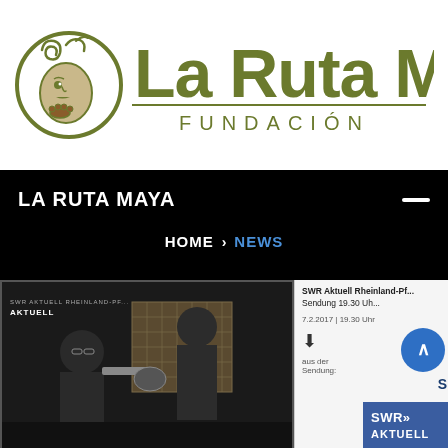[Figure (logo): La Ruta Maya Fundacion logo with Maya glyph icon and stylized text]
LA RUTA MAYA
HOME > NEWS
[Figure (photo): Two people in a dark studio room, one operating camera equipment in front of a grid panel backdrop, with SWR Aktuell Rheinland-Pfalz overlay. Side panel shows SWR Aktuell broadcast info: Sendung 19.30 Uhr, 7.2.2017 | 19.30 Uhr, download icon, aus der Sendung label, SWR>> AKTUELL badge.]